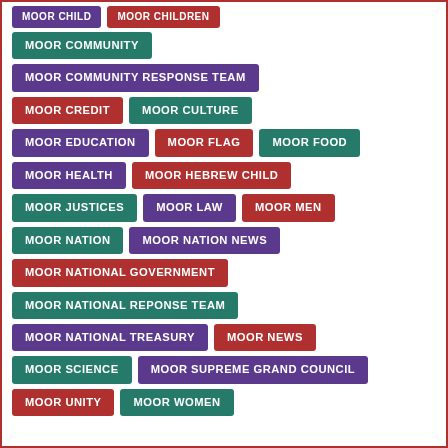MOOR CHILD
MOOR CHILDREN
MOOR COMMUNITY
MOOR COMMUNITY RESPONSE TEAM
MOOR CREDIT
MOOR CULTURE
MOOR EDUCATION
MOOR FLAG
MOOR FOOD
MOOR HEALTH
MOOR HEBREW CHILD
MOOR JUSTICES
MOOR LAW
MOOR MEN
MOOR NATION
MOOR NATION NEWS
MOOR NATIONAL GOVERNMENT
MOOR NATIONAL REPONSE TEAM
MOOR NATIONAL TREASURY
MOOR NEWS
MOOR SCIENCE
MOOR SUPREME GRAND COUNCIL
MOOR UNITY
MOOR WOMEN